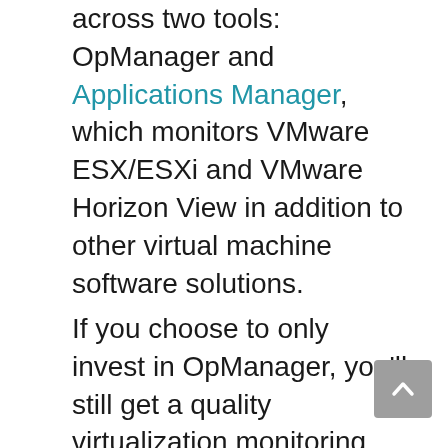across two tools: OpManager and Applications Manager, which monitors VMware ESX/ESXi and VMware Horizon View in addition to other virtual machine software solutions.
If you choose to only invest in OpManager, you'll still get a quality virtualization monitoring and management solution with insight into virtualization network usage. However, if you invest in Applications Manager in addition to OpManager, you'll get more layers of insight and information for your virtual environment, plus details of system activities you won't get with OpManager alone. You can also see line graphs and maps of applications with information from both tools to help you dive